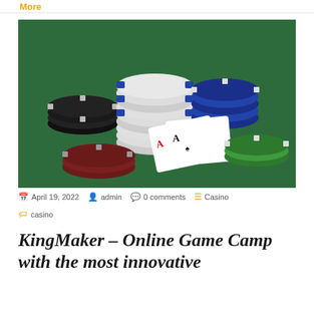More
[Figure (photo): Poker chips in black, white/blue, dark red/maroon, dark blue, and green colors stacked on a green felt table with two playing cards (Ace of spades and Ace of diamonds) visible underneath.]
April 19, 2022   admin   0 comments   Casino
casino
KingMaker – Online Game Camp with the most innovative